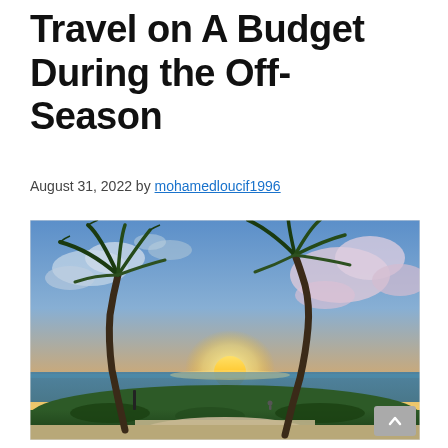Travel on A Budget During the Off-Season
August 31, 2022 by mohamedloucif1996
[Figure (photo): Beach sunset scene with two palm trees silhouetted against a colorful sky with clouds, sandy path leading toward the water, tropical beach at dusk or dawn]